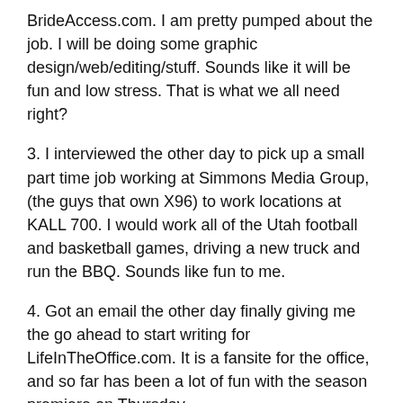BrideAccess.com. I am pretty pumped about the job. I will be doing some graphic design/web/editing/stuff. Sounds like it will be fun and low stress. That is what we all need right?
3. I interviewed the other day to pick up a small part time job working at Simmons Media Group, (the guys that own X96) to work locations at KALL 700. I would work all of the Utah football and basketball games, driving a new truck and run the BBQ. Sounds like fun to me.
4. Got an email the other day finally giving me the go ahead to start writing for LifeInTheOffice.com. It is a fansite for the office, and so far has been a lot of fun with the season premiere on Thursday.
That's about all, until next time.